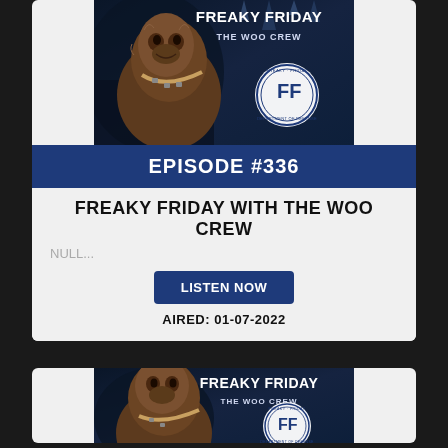[Figure (illustration): Freaky Friday The Woo Crew podcast cover art showing Chewbacca from Star Wars against a blue icy background with the show logo]
EPISODE #336
FREAKY FRIDAY WITH THE WOO CREW
NULL...
LISTEN NOW
AIRED: 01-07-2022
[Figure (illustration): Freaky Friday The Woo Crew podcast cover art showing Chewbacca from Star Wars against a blue icy background with the show logo (partial, bottom card)]